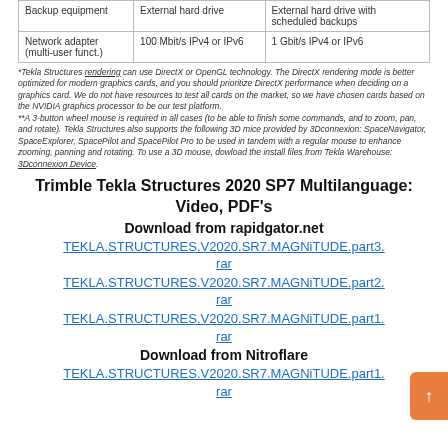|  |  |  |
| --- | --- | --- |
| Backup equipment | External hard drive | External hard drive with scheduled backups |
| Network adapter (multi-user funct.) | 100 Mbit/s IPv4 or IPv6 | 1 Gbit/s IPv4 or IPv6 |
*Tekla Structures rendering can use DirectX or OpenGL technology. The DirectX rendering mode is better optimized for modern graphics cards, and you should prioritize DirectX performance when deciding on a graphics card. We do not have resources to test all cards on the market, so we have chosen cards based on the NVIDIA graphics processor to be our test platform.
**A 3-button wheel mouse is required in all cases (to be able to finish some commands, and to zoom, pan, and rotate). Tekla Structures also supports the following 3D mice provided by 3Dconnexion: SpaceNavigator, SpaceExplorer, SpacePilot and SpacePilot Pro to be used in tandem with a regular mouse to enhance zooming, panning and rotating. To use a 3D mouse, dowload the install files from Tekla Warehouse: 3Dconnexion Device.
Trimble Tekla Structures 2020 SP7 Multilanguage: Video, PDF’s
Download from rapidgator.net
TEKLA.STRUCTURES.V2020.SR7.MAGNiTUDE.part3.rar
TEKLA.STRUCTURES.V2020.SR7.MAGNiTUDE.part2.rar
TEKLA.STRUCTURES.V2020.SR7.MAGNiTUDE.part1.rar
Download from Nitroflare
TEKLA.STRUCTURES.V2020.SR7.MAGNiTUDE.part1.rar